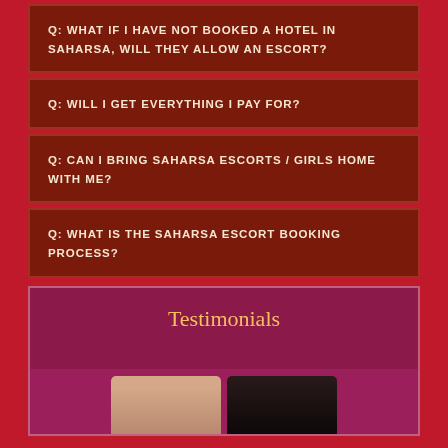Q: WHAT IF I HAVE NOT BOOKED A HOTEL IN SAHARSA, WILL THEY ALLOW AN ESCORT?
Q: WILL I GET EVERYTHING I PAY FOR?
Q: CAN I BRING SAHARSA ESCORTS / GIRLS HOME WITH ME?
Q: WHAT IS THE SAHARSA ESCORT BOOKING PROCESS?
Testimonials
[Figure (photo): Two person photos in testimonials section, partially visible at bottom]